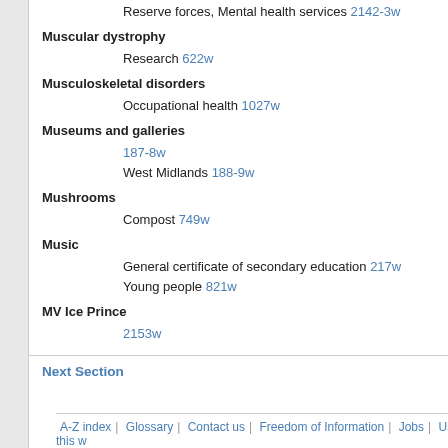Reserve forces, Mental health services 2142-3w
Muscular dystrophy
Research 622w
Musculoskeletal disorders
Occupational health 1027w
Museums and galleries
187-8w
West Midlands 188-9w
Mushrooms
Compost 749w
Music
General certificate of secondary education 217w
Young people 821w
MV Ice Prince
2153w
Next Section
A-Z index | Glossary | Contact us | Freedom of Information | Jobs | Using this w